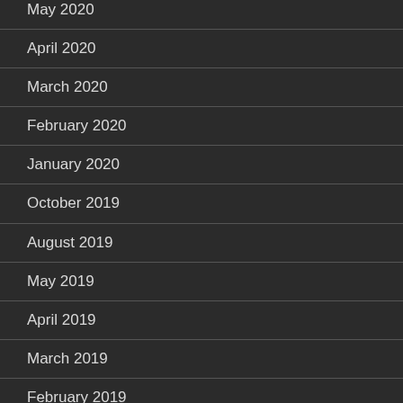May 2020
April 2020
March 2020
February 2020
January 2020
October 2019
August 2019
May 2019
April 2019
March 2019
February 2019
January 2019